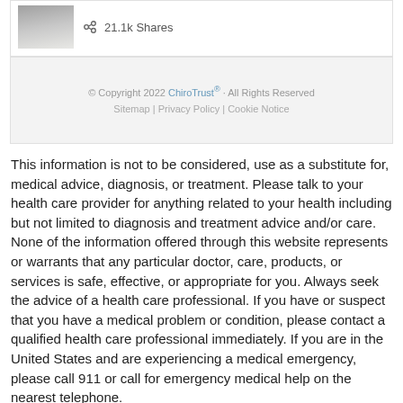[Figure (photo): Small thumbnail photo of a person, partially visible]
21.1k Shares
© Copyright 2022 ChiroTrust® · All Rights Reserved
Sitemap | Privacy Policy | Cookie Notice
This information is not to be considered, use as a substitute for, medical advice, diagnosis, or treatment. Please talk to your health care provider for anything related to your health including but not limited to diagnosis and treatment advice and/or care. None of the information offered through this website represents or warrants that any particular doctor, care, products, or services is safe, effective, or appropriate for you. Always seek the advice of a health care professional. If you have or suspect that you have a medical problem or condition, please contact a qualified health care professional immediately. If you are in the United States and are experiencing a medical emergency, please call 911 or call for emergency medical help on the nearest telephone.